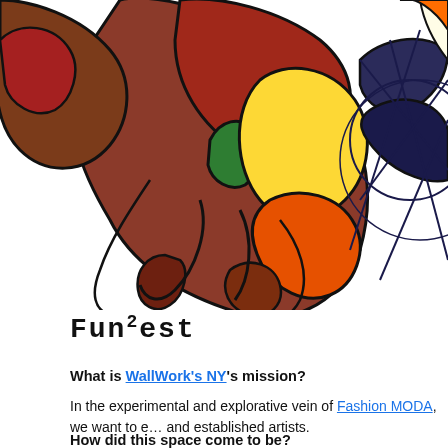[Figure (illustration): Colorful abstract artwork with bold black outlines enclosing areas of red, brown, green, yellow, and orange shapes on a white background, resembling a stained-glass or comic-art style composition.]
[Figure (logo): FunZest logo in bold monospace hand-drawn style lettering]
What is WallWork's NY's mission?
In the experimental and explorative vein of Fashion MODA, we want to e… and established artists.
How did this space come to be?